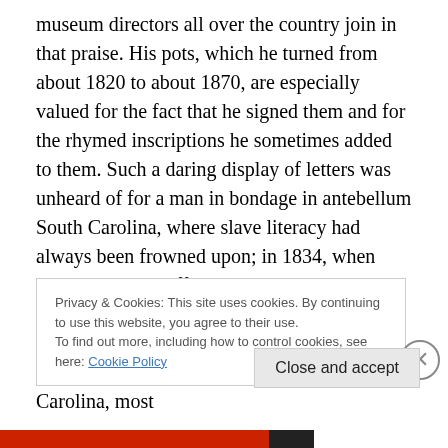museum directors all over the country join in that praise. His pots, which he turned from about 1820 to about 1870, are especially valued for the fact that he signed them and for the rhymed inscriptions he sometimes added to them. Such a daring display of letters was unheard of for a man in bondage in antebellum South Carolina, where slave literacy had always been frowned upon; in 1834, when Dave was 33, it officially became a crime to teach a slave to read or write.
One group of my ancestors lived in South Carolina, most
Privacy & Cookies: This site uses cookies. By continuing to use this website, you agree to their use.
To find out more, including how to control cookies, see here: Cookie Policy
Close and accept